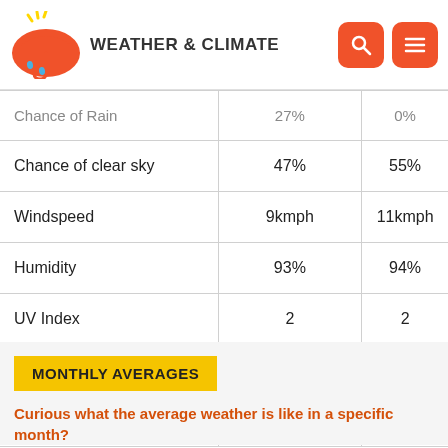WEATHER & CLIMATE
|  | Col1 | Col2 |
| --- | --- | --- |
| Chance of Rain | 27% | 0% |
| Chance of clear sky | 47% | 55% |
| Windspeed | 9kmph | 11kmph |
| Humidity | 93% | 94% |
| UV Index | 2 | 2 |
| Visibility | 8km | 7km |
| Pressure | 1010mb | 1008mb |
MONTHLY AVERAGES
Curious what the average weather is like in a specific month?